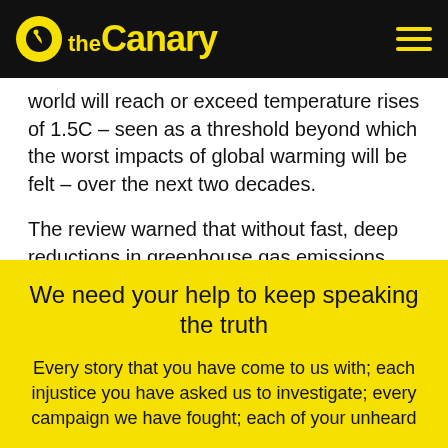theCanary
world will reach or exceed temperature rises of 1.5C – seen as a threshold beyond which the worst impacts of global warming will be felt – over the next two decades.
The review warned that without fast, deep reductions in greenhouse gas emissions, temperature rises in the 21st century will exceed both the 1.5C and a higher, riskier 2C warming limit agreed to by countries in the international Paris climate treaty.
We need your help to keep speaking the truth
Every story that you have come to us with; each injustice you have asked us to investigate; every campaign we have fought; each of your unheard